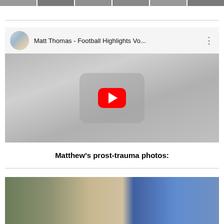[Figure (photo): Row of thumbnail images at top of page, partially visible]
[Figure (screenshot): YouTube video embed showing 'Matt Thomas - Football Highlights Vo...' with red play button on gray background]
Matthew's prost-trauma photos:
[Figure (photo): Partially visible photograph at bottom of page]